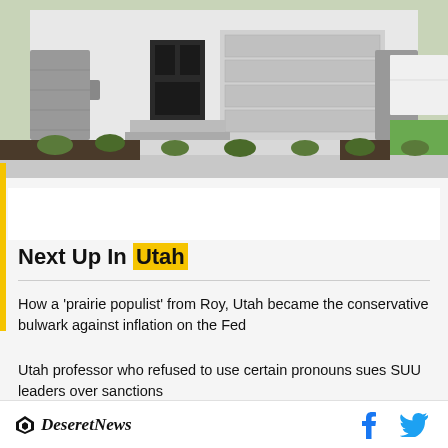[Figure (photo): Exterior photo of a modern single-family home with white siding, stone accents, large garage door, and landscaped front yard with dark mulch and small shrubs]
Next Up In Utah
How a ‘prairie populist’ from Roy, Utah became the conservative bulwark against inflation on the Fed
Utah professor who refused to use certain pronouns sues SUU leaders over sanctions
Deseret News